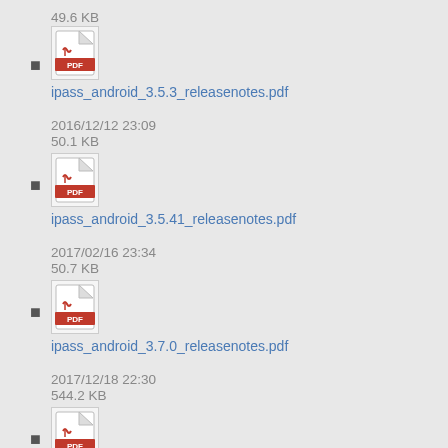49.6 KB
ipass_android_3.5.3_releasenotes.pdf
2016/12/12 23:09
50.1 KB
ipass_android_3.5.41_releasenotes.pdf
2017/02/16 23:34
50.7 KB
ipass_android_3.7.0_releasenotes.pdf
2017/12/18 22:30
544.2 KB
ipass_android_3.7.1_releasenotes.pdf